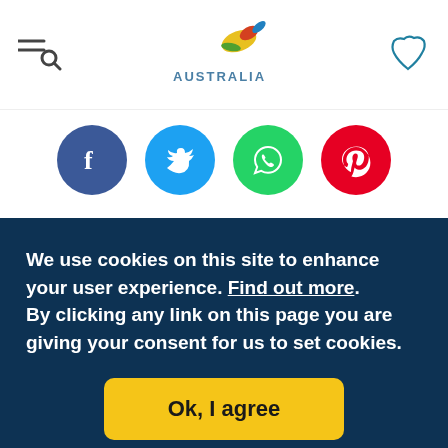Australia tourism website header with menu/search icon, Australia logo, and map icon
[Figure (illustration): Social sharing icons row: Facebook (blue), Twitter (light blue), WhatsApp (green), Pinterest (red)]
Australia's leading cultural attractions tell the story of how the varied geographic, ethnic and cultural origins
We use cookies on this site to enhance your user experience. Find out more. By clicking any link on this page you are giving your consent for us to set cookies. Ok, I agree